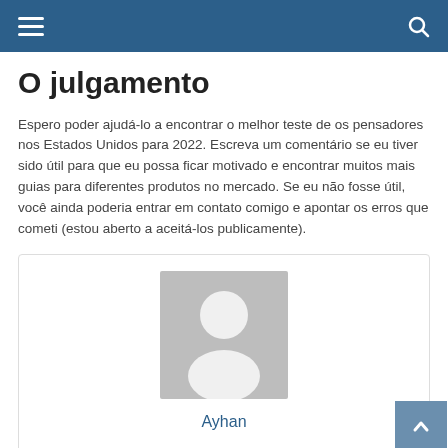Navigation bar with menu and search icons
O julgamento
Espero poder ajudá-lo a encontrar o melhor teste de os pensadores nos Estados Unidos para 2022. Escreva um comentário se eu tiver sido útil para que eu possa ficar motivado e encontrar muitos mais guias para diferentes produtos no mercado. Se eu não fosse útil, você ainda poderia entrar em contato comigo e apontar os erros que cometi (estou aberto a aceitá-los publicamente).
[Figure (other): User avatar placeholder with grey silhouette image and the name Ayhan below it, inside a bordered comment box]